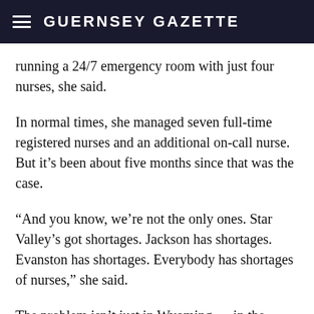GUERNSEY GAZETTE
running a 24/7 emergency room with just four nurses, she said.
In normal times, she managed seven full-time registered nurses and an additional on-call nurse. But it's been about five months since that was the case.
“And you know, we’re not the only ones. Star Valley’s got shortages. Jackson has shortages. Evanston has shortages. Everybody has shortages of nurses,” she said.
The problem isn’t just in Wyoming — in the United States employment in the health care industry was down by 450,000 between February